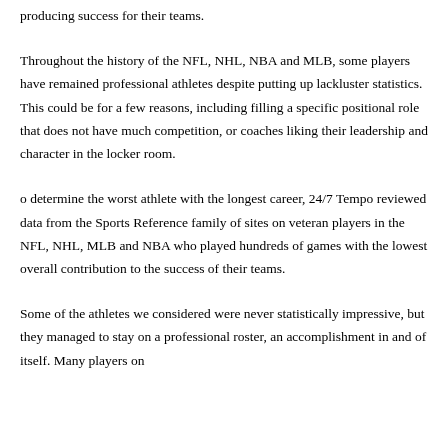producing success for their teams.
Throughout the history of the NFL, NHL, NBA and MLB, some players have remained professional athletes despite putting up lackluster statistics. This could be for a few reasons, including filling a specific positional role that does not have much competition, or coaches liking their leadership and character in the locker room.
o determine the worst athlete with the longest career, 24/7 Tempo reviewed data from the Sports Reference family of sites on veteran players in the NFL, NHL, MLB and NBA who played hundreds of games with the lowest overall contribution to the success of their teams.
Some of the athletes we considered were never statistically impressive, but they managed to stay on a professional roster, an accomplishment in and of itself. Many players on